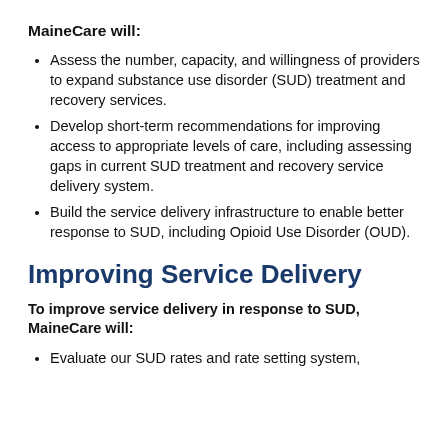MaineCare will:
Assess the number, capacity, and willingness of providers to expand substance use disorder (SUD) treatment and recovery services.
Develop short-term recommendations for improving access to appropriate levels of care, including assessing gaps in current SUD treatment and recovery service delivery system.
Build the service delivery infrastructure to enable better response to SUD, including Opioid Use Disorder (OUD).
Improving Service Delivery
To improve service delivery in response to SUD, MaineCare will:
Evaluate our SUD rates and rate setting system,